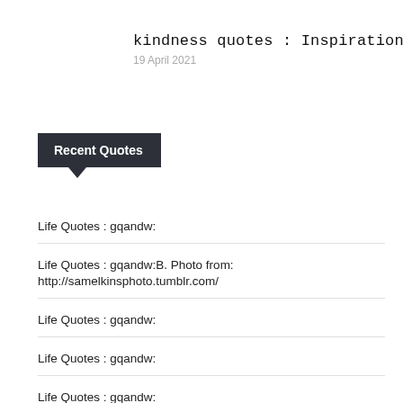kindness quotes : Inspirational Quotes
19 April 2021
Recent Quotes
Life Quotes : gqandw:
Life Quotes : gqandw:B. Photo from:
http://samelkinsphoto.tumblr.com/
Life Quotes : gqandw:
Life Quotes : gqandw:
Life Quotes : gqandw: